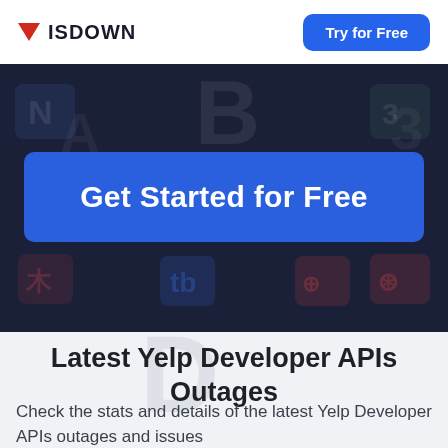ISDOWN   Try for Free
[Figure (screenshot): Dark navy hero banner with blurred colored app/service logos in background, and a large blue 'Get Started for Free' button centered in the banner]
Latest Yelp Developer APIs Outages
Check the stats and details of the latest Yelp Developer APIs outages and issues